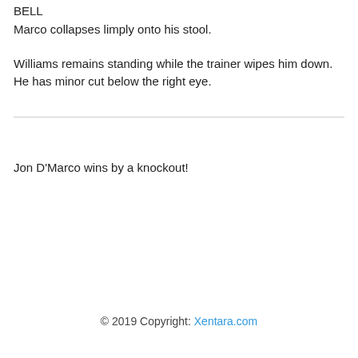BELL
Marco collapses limply onto his stool.
Williams remains standing while the trainer wipes him down. He has minor cut below the right eye.
Jon D'Marco wins by a knockout!
© 2019 Copyright: Xentara.com